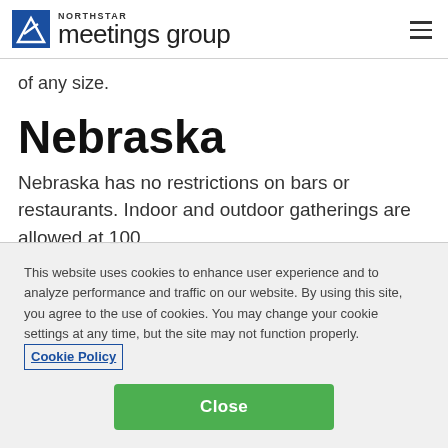NORTHSTAR meetings group
of any size.
Nebraska
Nebraska has no restrictions on bars or restaurants. Indoor and outdoor gatherings are allowed at 100
This website uses cookies to enhance user experience and to analyze performance and traffic on our website. By using this site, you agree to the use of cookies. You may change your cookie settings at any time, but the site may not function properly. Cookie Policy
Close